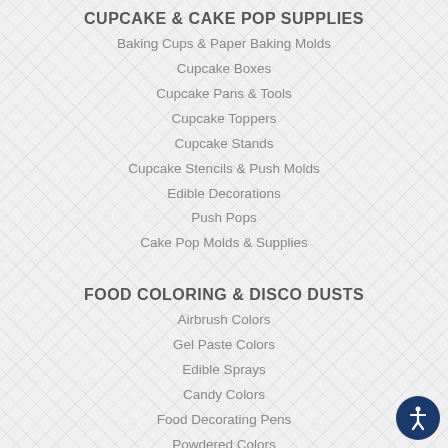CUPCAKE & CAKE POP SUPPLIES
Baking Cups & Paper Baking Molds
Cupcake Boxes
Cupcake Pans & Tools
Cupcake Toppers
Cupcake Stands
Cupcake Stencils & Push Molds
Edible Decorations
Push Pops
Cake Pop Molds & Supplies
FOOD COLORING & DISCO DUSTS
Airbrush Colors
Gel Paste Colors
Edible Sprays
Candy Colors
Food Decorating Pens
Powdered Colors
Petal, Disco, & Luster Dusts
Silver & Gold Highlighter
BOXES, BOARDS, & DUMMIES